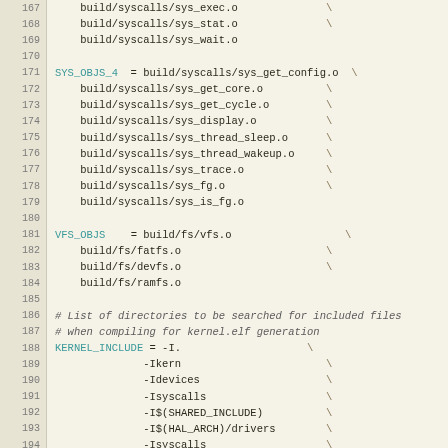[Figure (screenshot): Source code listing (Makefile) showing lines 167-199, with line numbers in left gutter and code content with syntax highlighting. Variables like SYS_OBJS_4, VFS_OBJS, KERNEL_INCLUDE are shown in teal, comments in italic, and continuation backslashes.]